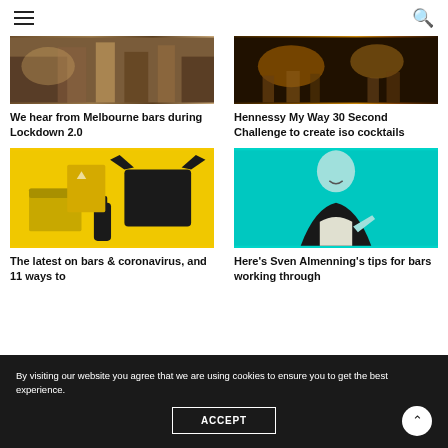Menu | Search
[Figure (photo): Bar scene with people and bottles - Melbourne bars during lockdown]
[Figure (photo): Dark moody bar counter with cocktail glasses and bottles - Hennessy]
We hear from Melbourne bars during Lockdown 2.0
Hennessy My Way 30 Second Challenge to create iso cocktails
[Figure (photo): Yellow background with black merchandise items - t-shirt, bottle, packaging]
[Figure (photo): Teal/cyan background with bald smiling man in suit making finger gun gesture]
The latest on bars & coronavirus, and 11 ways to
Here's Sven Almenning's tips for bars working through
By visiting our website you agree that we are using cookies to ensure you to get the best experience.
ACCEPT